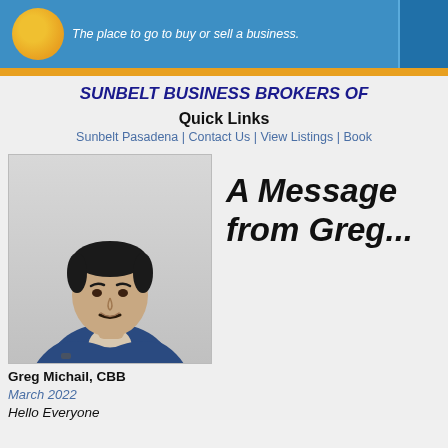The place to go to buy or sell a business.
SUNBELT BUSINESS BROKERS OF
Quick Links
Sunbelt Pasadena | Contact Us | View Listings | Book
[Figure (photo): Professional headshot of Greg Michail, CBB, wearing a blue blazer with arms crossed, light background]
Greg Michail, CBB
March 2022
Hello Everyone
A Message from Greg...